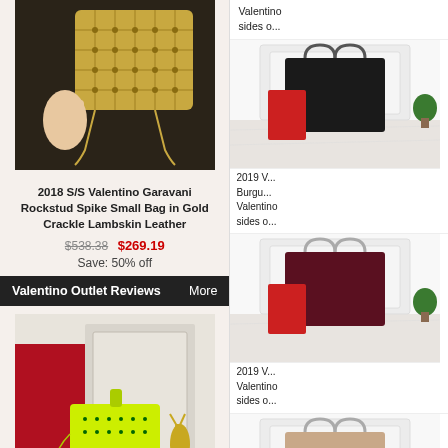[Figure (photo): Gold quilted Valentino Garavani Rockstud Spike Small Bag held by a hand, with chain straps, on a dark background]
2018 S/S Valentino Garavani Rockstud Spike Small Bag in Gold Crackle Lambskin Leather
$538.38  $269.19
Save: 50% off
Valentino Outlet Reviews    More
[Figure (photo): Neon yellow-green Valentino studded handbag on a marble surface with red panel and gold deer figurine in background]
I loved my shopping experience from the start
[Figure (photo): Black tote bag with red pouch/clutch on white marble surface]
Valentino sides o...
[Figure (photo): Burgundy/dark red tote bag with red pouch on white marble surface]
2019 V... Burgundy Valentino sides o...
[Figure (photo): Tan/nude tote bag with red pouch on white marble surface]
2019 V... Valentino sides o...